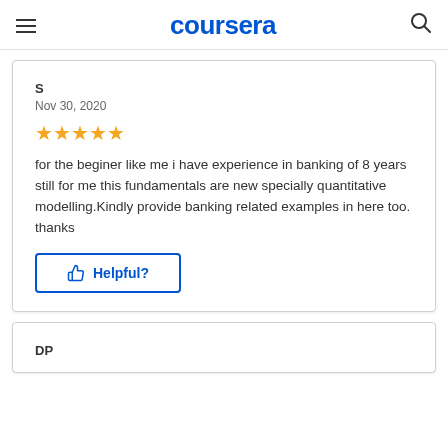coursera
S
Nov 30, 2020
★★★★★
for the beginer like me i have experience in banking of 8 years still for me this fundamentals are new specially quantitative modelling.Kindly provide banking related examples in here too.
thanks
Helpful?
DP